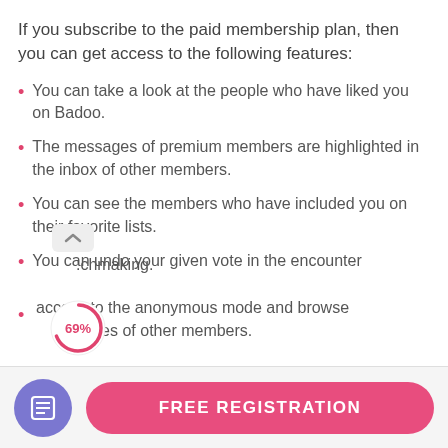If you subscribe to the paid membership plan, then you can get access to the following features:
You can take a look at the people who have liked you on Badoo.
The messages of premium members are highlighted in the inbox of other members.
You can see the members who have included you on their favorite lists.
You can undo your given vote in the encounter matchmaking.
access to the anonymous mode and browse profiles of other members.
[Figure (infographic): A circular progress indicator showing 69% with a pink/red stroke arc on a white background, partially overlapping the last list item.]
[Figure (infographic): Footer bar with a purple circular icon containing a document/list symbol on the left, and a pink pill-shaped FREE REGISTRATION button on the right.]